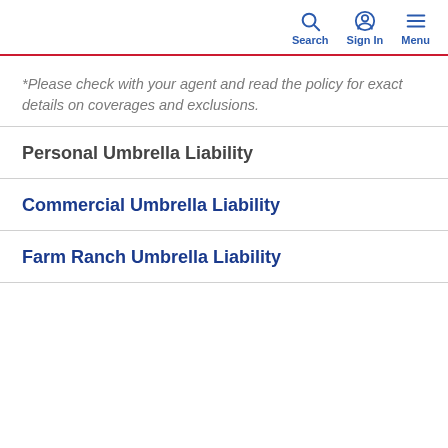Search | Sign In | Menu
*Please check with your agent and read the policy for exact details on coverages and exclusions.
Personal Umbrella Liability
Commercial Umbrella Liability
Farm Ranch Umbrella Liability